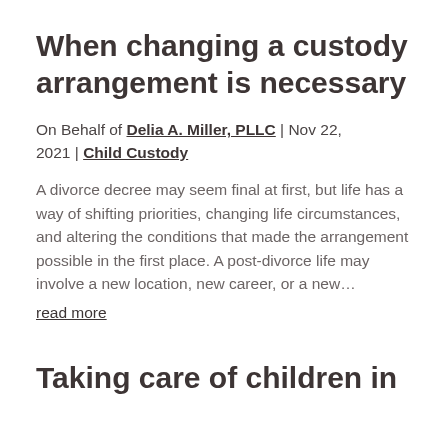When changing a custody arrangement is necessary
On Behalf of Delia A. Miller, PLLC | Nov 22, 2021 | Child Custody
A divorce decree may seem final at first, but life has a way of shifting priorities, changing life circumstances, and altering the conditions that made the arrangement possible in the first place. A post-divorce life may involve a new location, new career, or a new…
read more
Taking care of children in